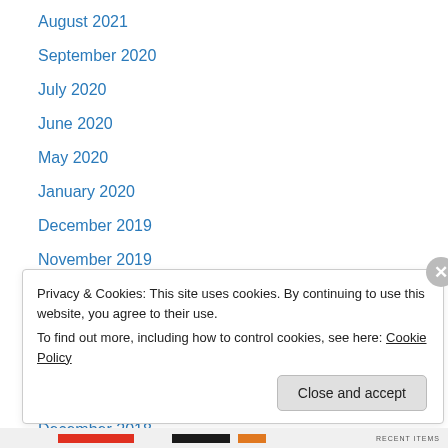August 2021
September 2020
July 2020
June 2020
May 2020
January 2020
December 2019
November 2019
September 2019
August 2019
July 2019
June 2019
December 2018
Privacy & Cookies: This site uses cookies. By continuing to use this website, you agree to their use. To find out more, including how to control cookies, see here: Cookie Policy